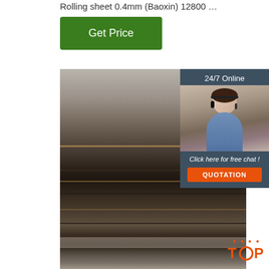Rolling sheet 0.4mm (Baoxin) 12800 ...
[Figure (other): Green 'Get Price' button]
[Figure (photo): Stacked steel rolling sheets/plates photographed outdoors, showing multiple layers of flat metal sheets with rust and dirt visible on edges]
[Figure (other): Sidebar widget with '24/7 Online' header, customer service agent photo (woman with headset), 'Click here for free chat!' text, and orange QUOTATION button]
[Figure (other): Orange TOP badge with decorative dots in bottom-right corner]